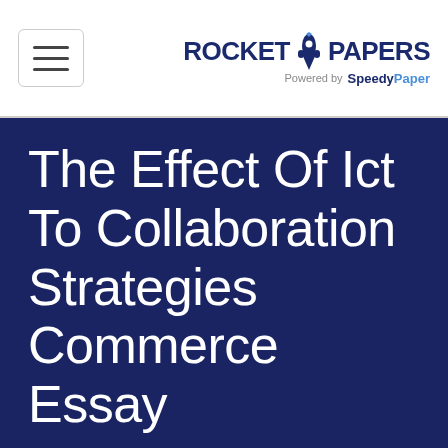ROCKET PAPERS Powered by SpeedyPaper
The Effect Of Ict To Collaboration Strategies Commerce Essay